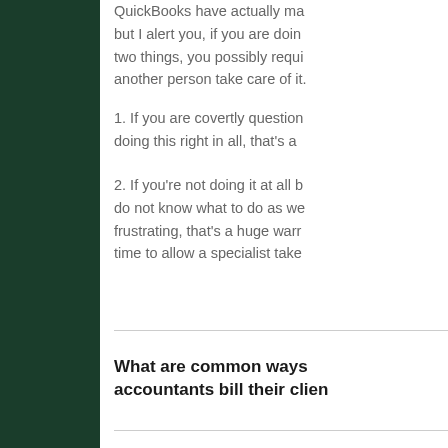QuickBooks have actually made but I alert you, if you are doing two things, you possibly require another person take care of it.
1. If you are covertly questioning doing this right in all, that's a
2. If you're not doing it at all b do not know what to do as we frustrating, that's a huge warn time to allow a specialist take
What are common ways accountants bill their clien